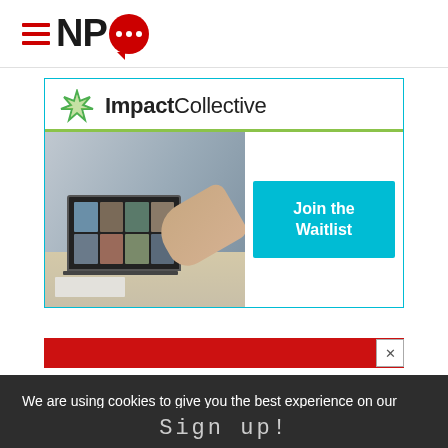NPQ logo with hamburger menu icon
[Figure (other): ImpactCollective advertisement banner with logo, photo of person using laptop with video call, and 'Join the Waitlist' cyan button]
[Figure (other): Red advertisement bar with close X button]
We are using cookies to give you the best experience on our website.
Sign up!